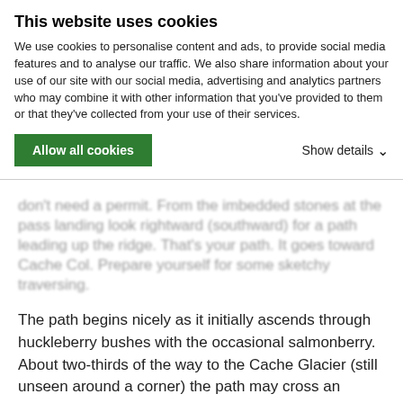This website uses cookies
We use cookies to personalise content and ads, to provide social media features and to analyse our traffic. We also share information about your use of our site with our social media, advertising and analytics partners who may combine it with other information that you've provided to them or that they've collected from your use of their services.
Allow all cookies
Show details
don't need a permit. From the imbedded stones at the pass landing look rightward (southward) for a path leading up the ridge. That's your path. It goes toward Cache Col. Prepare yourself for some sketchy traversing.
The path begins nicely as it initially ascends through huckleberry bushes with the occasional salmonberry. About two-thirds of the way to the Cache Glacier (still unseen around a corner) the path may cross an eroded gully with a steep unscarifiable side wall (hard dirt with imbedded rocks). A fall here would be disastrous so don't. It seems strange the trail goes high on this hard